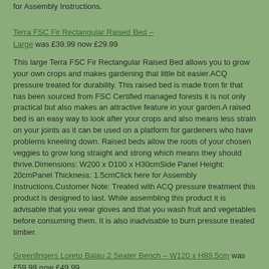for Assembly Instructions.
Terra FSC Fir Rectangular Raised Bed – Large was £39.99 now £29.99
This large Terra FSC Fir Rectangular Raised Bed allows you to grow your own crops and makes gardening that little bit easier.ACQ pressure treated for durability. This raised bed is made from fir that has been sourced from FSC Certified managed forests it is not only practical but also makes an attractive feature in your garden.A raised bed is an easy way to look after your crops and also means less strain on your joints as it can be used on a platform for gardeners who have problems kneeling down. Raised beds allow the roots of your chosen veggies to grow long straight and strong which means they should thrive.Dimensions: W200 x D100 x H30cmSide Panel Height: 20cmPanel Thickness: 1.5cmClick here for Assembly Instructions.Customer Note: Treated with ACQ pressure treatment this product is designed to last. While assembling this product it is advisable that you wear gloves and that you wash fruit and vegetables before consuming them. It is also inadvisable to burn pressure treated timber.
Greenfingers Loreto Balau 2 Seater Bench – W120 x H88.5cm was £59.99 now £49.99